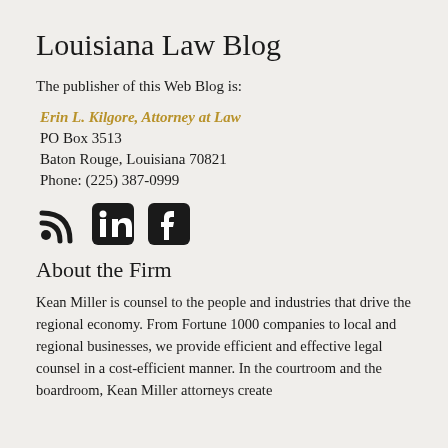Louisiana Law Blog
The publisher of this Web Blog is:
Erin L. Kilgore, Attorney at Law
PO Box 3513
Baton Rouge, Louisiana 70821
Phone: (225) 387-0999
[Figure (infographic): Three social media icons: RSS feed icon, LinkedIn icon, and Facebook icon]
About the Firm
Kean Miller is counsel to the people and industries that drive the regional economy. From Fortune 1000 companies to local and regional businesses, we provide efficient and effective legal counsel in a cost-efficient manner. In the courtroom and the boardroom, Kean Miller attorneys create